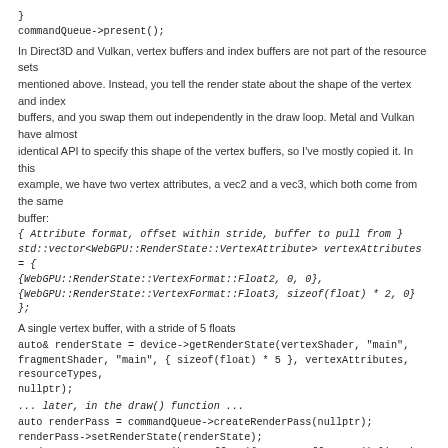}
commandQueue->present();
In Direct3D and Vulkan, vertex buffers and index buffers are not part of the resource sets mentioned above. Instead, you tell the render state about the shape of the vertex and index buffers, and you swap them out independently in the draw loop. Metal and Vulkan have almost identical API to specify this shape of the vertex buffers, so I've mostly copied it. In this example, we have two vertex attributes, a vec2 and a vec3, which both come from the same buffer:
{ Attribute format, offset within stride, buffer to pull from }
std::vector<WebGPU::RenderState::VertexAttribute> vertexAttributes = {
{WebGPU::RenderState::VertexFormat::Float2, 0, 0},
{WebGPU::RenderState::VertexFormat::Float3, sizeof(float) * 2, 0} };
A single vertex buffer, with a stride of 5 floats
auto& renderState = device->getRenderState(vertexShader, "main", fragmentShader, "main", { sizeof(float) * 5 }, vertexAttributes, resourceTypes, nullptr);
... later, in the draw() function ...
auto renderPass = commandQueue->createRenderPass(nullptr);
renderPass->setRenderState(renderState);
renderPass->setVertexAttributeBuffers({ vertexBuffer.get() }); The one vertex buffer which both attributes pull from